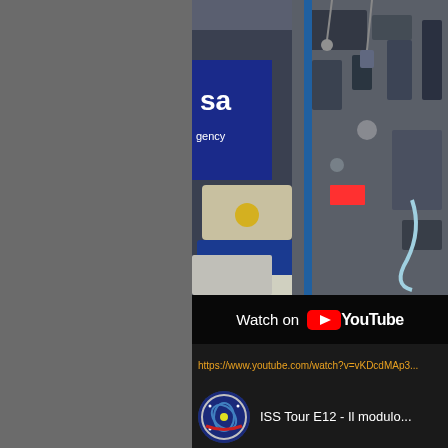[Figure (screenshot): Screenshot of a YouTube video thumbnail showing the interior of the International Space Station (ISS) with equipment, bags, and modules visible. An ESA banner is partially visible on the left. A 'Watch on YouTube' overlay bar is at the bottom of the video.]
https://www.youtube.com/watch?v=vKDcdMAp3...
[Figure (screenshot): YouTube video thumbnail/card showing 'ISS Tour E12 - Il modulo...' with a circular mission patch logo on the left and a partial image of ISS interior on the right.]